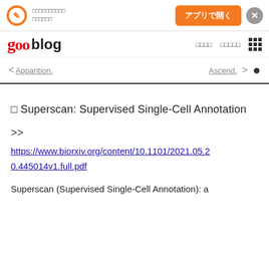アプリで開く ×
goo blog
< Apparition.   Ascend. >
□ Superscan: Supervised Single-Cell Annotation
>>
https://www.biorxiv.org/content/10.1101/2021.05.20.445014v1.full.pdf
Superscan (Supervised Single-Cell Annotation): a